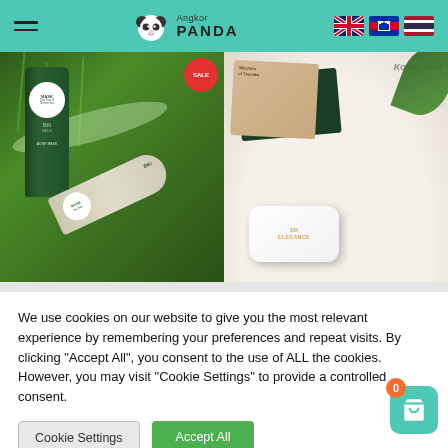Angkor PANDA — navigation header with logo and language flags
[Figure (photo): Two product photos side by side: left shows BK PACK Acne Mask tubes on green grass background with sale badge; right shows natural cover foundation product with box and compact on white fur background with Konvy.com watermark]
We use cookies on our website to give you the most relevant experience by remembering your preferences and repeat visits. By clicking "Accept All", you consent to the use of ALL the cookies. However, you may visit "Cookie Settings" to provide a controlled consent.
Cookie Settings
Accept All